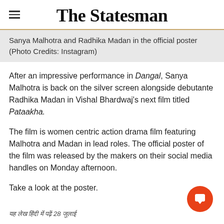The Statesman
Sanya Malhotra and Radhika Madan in the official poster (Photo Credits: Instagram)
After an impressive performance in Dangal, Sanya Malhotra is back on the silver screen alongside debutante Radhika Madan in Vishal Bhardwaj's next film titled Pataakha.
The film is women centric action drama film featuring Malhotra and Madan in lead roles. The official poster of the film was released by the makers on their social media handles on Monday afternoon.
Take a look at the poster.
यह लेख हिंदी में पढ़ें 28 जुलाई